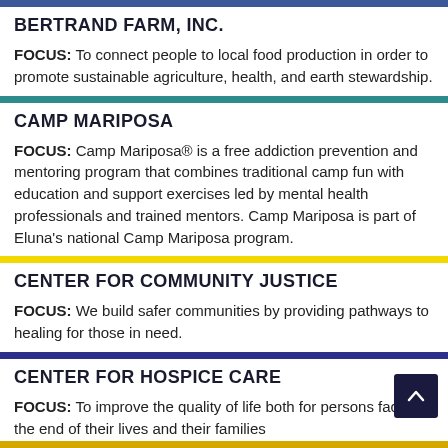BERTRAND FARM, INC.
FOCUS: To connect people to local food production in order to promote sustainable agriculture, health, and earth stewardship.
CAMP MARIPOSA
FOCUS: Camp Mariposa® is a free addiction prevention and mentoring program that combines traditional camp fun with education and support exercises led by mental health professionals and trained mentors. Camp Mariposa is part of Eluna's national Camp Mariposa program.
CENTER FOR COMMUNITY JUSTICE
FOCUS: We build safer communities by providing pathways to healing for those in need.
CENTER FOR HOSPICE CARE
FOCUS: To improve the quality of life both for persons facing the end of their lives and their families